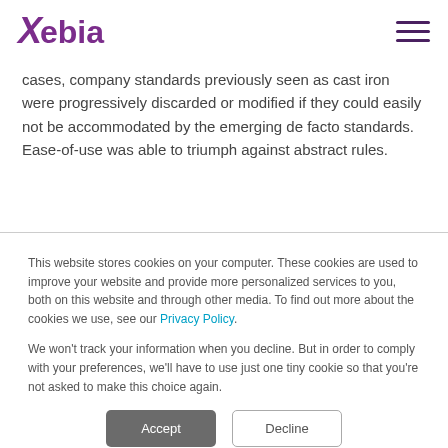Xebia
cases, company standards previously seen as cast iron were progressively discarded or modified if they could easily not be accommodated by the emerging de facto standards. Ease-of-use was able to triumph against abstract rules.
This website stores cookies on your computer. These cookies are used to improve your website and provide more personalized services to you, both on this website and through other media. To find out more about the cookies we use, see our Privacy Policy.

We won't track your information when you decline. But in order to comply with your preferences, we'll have to use just one tiny cookie so that you're not asked to make this choice again.